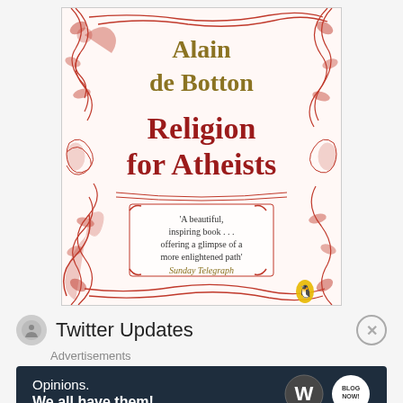[Figure (illustration): Book cover of 'Religion for Atheists' by Alain de Botton. White background with elaborate red floral/vine decorative border. Author name 'Alain de Botton' in gold/olive serif font at top. Title 'Religion for Atheists' in large dark red serif font. Quote: 'A beautiful, inspiring book ... offering a glimpse of a more enlightened path' Sunday Telegraph. Penguin Books logo at bottom right.]
Twitter Updates
Advertisements
[Figure (screenshot): Advertisement banner with dark navy background. Text reads 'Opinions. We all have them!' with WordPress logo (W in circle) and another circular logo on the right.]